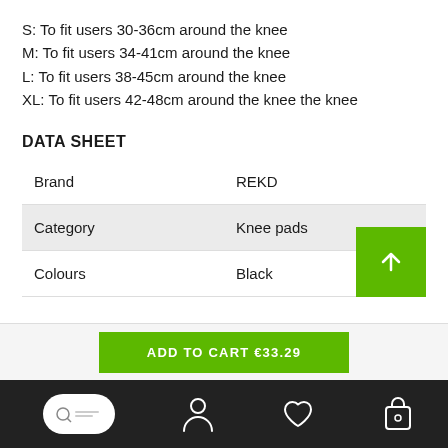S: To fit users 30-36cm around the knee
M: To fit users 34-41cm around the knee
L: To fit users 38-45cm around the knee
XL: To fit users 42-48cm around the knee the knee
DATA SHEET
|  |  |
| --- | --- |
| Brand | REKD |
| Category | Knee pads |
| Colours | Black |
ADD TO CART €33.29
[Figure (illustration): Bottom navigation bar with logo, person icon, heart icon, and bag icon on dark background]